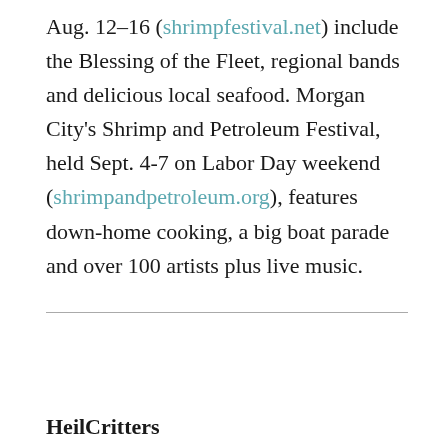Aug. 12-16 (shrimpfestival.net) include the Blessing of the Fleet, regional bands and delicious local seafood. Morgan City's Shrimp and Petroleum Festival, held Sept. 4-7 on Labor Day weekend (shrimpandpetroleum.org), features down-home cooking, a big boat parade and over 100 artists plus live music.
HeilCritters